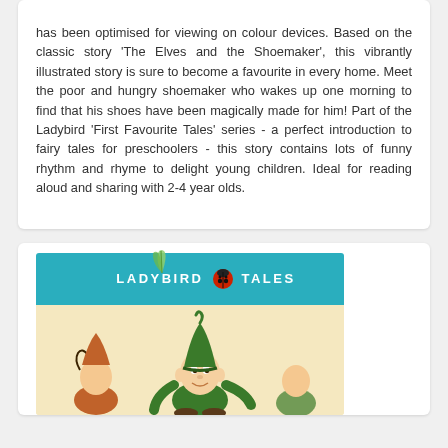has been optimised for viewing on colour devices. Based on the classic story 'The Elves and the Shoemaker', this vibrantly illustrated story is sure to become a favourite in every home. Meet the poor and hungry shoemaker who wakes up one morning to find that his shoes have been magically made for him! Part of the Ladybird 'First Favourite Tales' series - a perfect introduction to fairy tales for preschoolers - this story contains lots of funny rhythm and rhyme to delight young children. Ideal for reading aloud and sharing with 2-4 year olds.
[Figure (illustration): Book cover for Ladybird Tales showing an elf character with green hat on a cream background, with teal 'LADYBIRD TALES' header banner featuring a ladybird logo]